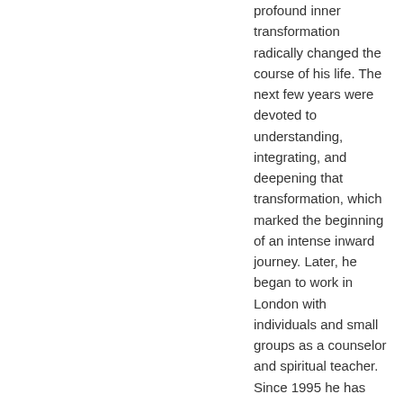profound inner transformation radically changed the course of his life. The next few years were devoted to understanding, integrating, and deepening that transformation, which marked the beginning of an intense inward journey. Later, he began to work in London with individuals and small groups as a counselor and spiritual teacher. Since 1995 he has lived in Vancouver, Canada. Eckhart Tolle is the author of the New York Times bestsellers The Power of Now (translated into 33 languages) and A